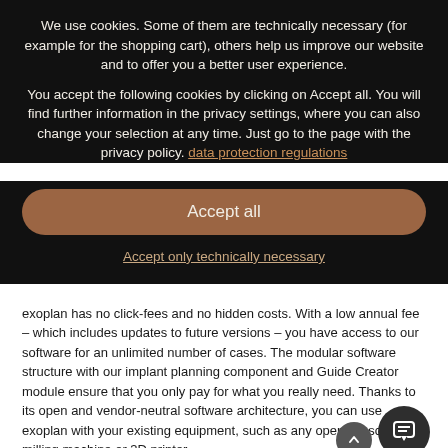We use cookies. Some of them are technically necessary (for example for the shopping cart), others help us improve our website and to offer you a better user experience.
You accept the following cookies by clicking on Accept all. You will find further information in the privacy settings, where you can also change your selection at any time. Just go to the page with the privacy policy. data protection regulations
Accept all
Accept only technically necessary
exoplan has no click-fees and no hidden costs. With a low annual fee – which includes updates to future versions – you have access to our software for an unlimited number of cases. The modular software structure with our implant planning component and Guide Creator module ensure that you only pay for what you really need. Thanks to its open and vendor-neutral software architecture, you can use exoplan with your existing equipment, such as any open 3D scanner, milling machine or 3D printer